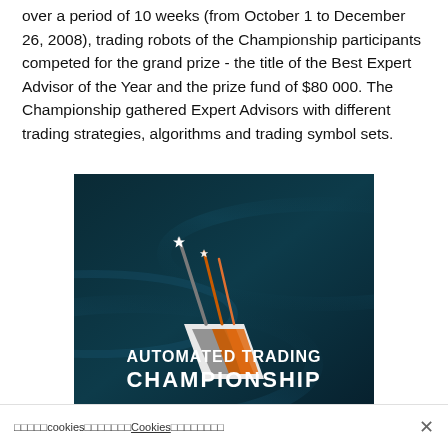over a period of 10 weeks (from October 1 to December 26, 2008), trading robots of the Championship participants competed for the grand prize - the title of the Best Expert Advisor of the Year and the prize fund of $80 000. The Championship gathered Expert Advisors with different trading strategies, algorithms and trading symbol sets.
[Figure (logo): Automated Trading Championship logo on dark teal background with stylized upward arrow streaks and white text.]
□□□□□cookies□□□□□□□Cookies□□□□□□□□ ×